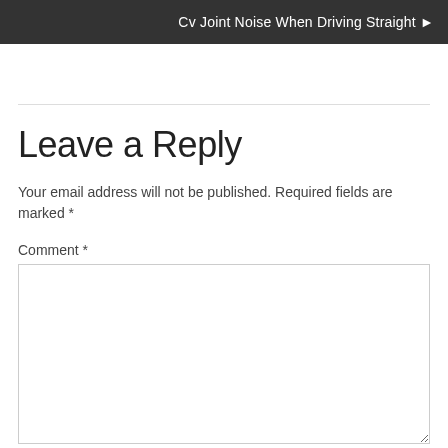Cv Joint Noise When Driving Straight ▶
Leave a Reply
Your email address will not be published. Required fields are marked *
Comment *
Name *